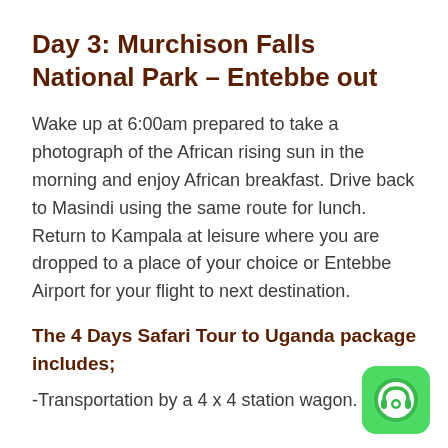Day 3: Murchison Falls National Park – Entebbe out
Wake up at 6:00am prepared to take a photograph of the African rising sun in the morning and enjoy African breakfast. Drive back to Masindi using the same route for lunch. Return to Kampala at leisure where you are dropped to a place of your choice or Entebbe Airport for your flight to next destination.
The 4 Days Safari Tour to Uganda package includes;
-Transportation by a 4 x 4 station wagon.
[Figure (other): Green chat/messaging app icon with headphone graphic, positioned in the bottom right corner]